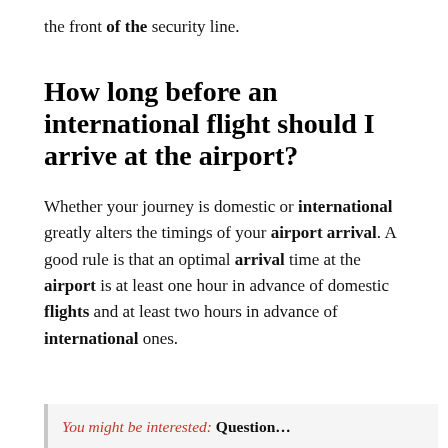the front of the security line.
How long before an international flight should I arrive at the airport?
Whether your journey is domestic or international greatly alters the timings of your airport arrival. A good rule is that an optimal arrival time at the airport is at least one hour in advance of domestic flights and at least two hours in advance of international ones.
You might be interested: Question…